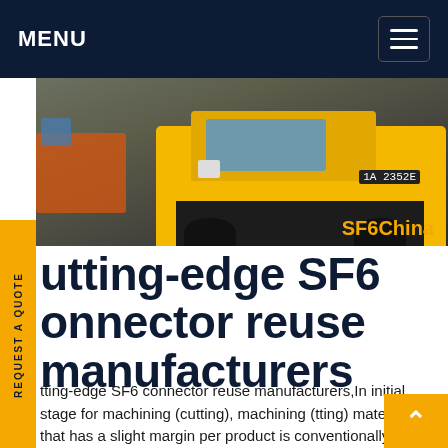MENU
[Figure (photo): Photo of a yellow truck/vehicle with license plate 1A 2352E, with SF6China orange label in the bottom right corner of the image.]
Cutting-edge SF6 connector reuse manufacturers
Cutting-edge SF6 connector reuse manufacturers,In initial stage for machining (cutting), machining (cutting) material that has a slight margin per product is conventionally used to maintain quality. However, by using expertise built over the years reduce the amount cut to the absolute limit, SA accomplishing cutting-edge, environmentally